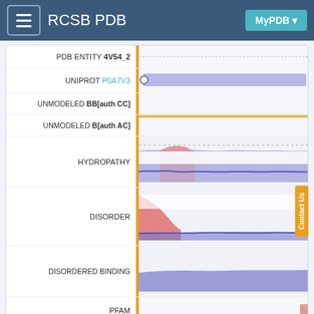RCSB PDB — MyPDB
[Figure (infographic): Sequence viewer showing rows: PDB ENTITY 4V54_2, UNIPROT P0A7V3 (with purple bar), UNMODELED BB[auth CC], UNMODELED B[auth AC] (with orange mark), HYDROPATHY chart (pink/blue area), DISORDER chart (red/blue area), DISORDERED BINDING chart (purple area), PFAM row. Orange vertical separator line. Contact Us tab on right side.]
Find similar proteins by: Sequence ▾ (by identity cutoff) | 3D Structure
Entity ID: 3